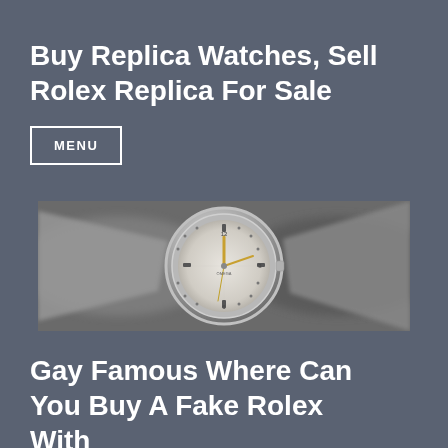Buy Replica Watches, Sell Rolex Replica For Sale
MENU
[Figure (photo): Close-up photo of a luxury watch face (Omega brand) with a light silver/grey dial, gold hands, and hour markers at 12, 3, 6 positions. The watch sits on what appears to be a metal strap with blurred background.]
Gay Famous Where Can You Buy A Fake Rolex With